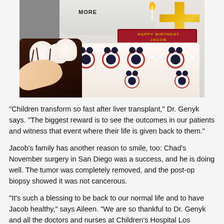[Figure (photo): A child standing behind a Mickey Mouse themed birthday cake with 'HAPPY BIRTHDAY JACOB' sign, a gold cross/number decoration with a candle, and chocolate cupcakes being held in the foreground.]
“Children transform so fast after liver transplant,” Dr. Genyk says. “The biggest reward is to see the outcomes in our patients and witness that event where their life is given back to them.”
Jacob’s family has another reason to smile, too: Chad’s November surgery in San Diego was a success, and he is doing well. The tumor was completely removed, and the post-op biopsy showed it was not cancerous.
“It’s such a blessing to be back to our normal life and to have Jacob healthy,” says Aileen. “We are so thankful to Dr. Genyk and all the doctors and nurses at Children’s Hospital Los